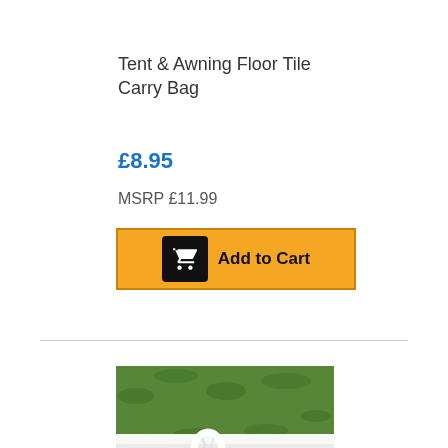Tent & Awning Floor Tile Carry Bag
£8.95
MSRP £11.99
[Figure (screenshot): Yellow 'Add to Cart' button with black shopping cart icon on left and bold text 'Add to Cart']
[Figure (photo): Close-up photo of white tubular carry bag fastener/clip on green grass background]